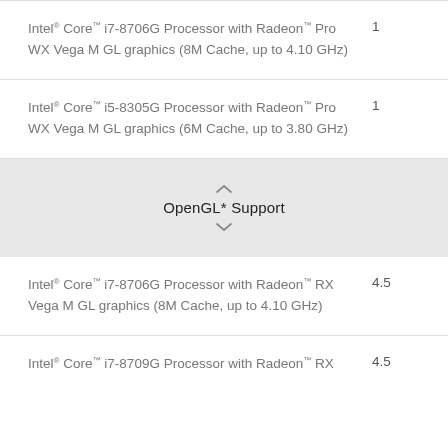Intel® Core™ i7-8706G Processor with Radeon™ Pro WX Vega M GL graphics (8M Cache, up to 4.10 GHz)
Intel® Core™ i5-8305G Processor with Radeon™ Pro WX Vega M GL graphics (6M Cache, up to 3.80 GHz)
OpenGL* Support
Intel® Core™ i7-8706G Processor with Radeon™ RX Vega M GL graphics (8M Cache, up to 4.10 GHz)
Intel® Core™ i7-8709G Processor with Radeon™ RX